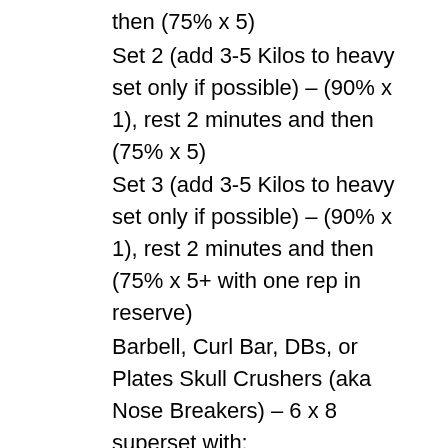then (75% x 5)
Set 2 (add 3-5 Kilos to heavy set only if possible) – (90% x 1), rest 2 minutes and then (75% x 5)
Set 3 (add 3-5 Kilos to heavy set only if possible) – (90% x 1), rest 2 minutes and then (75% x 5+ with one rep in reserve)
Barbell, Curl Bar, DBs, or Plates Skull Crushers (aka Nose Breakers) – 6 x 8 superset with:
Band Pushdowns or Plate OH Triceps Extension – 6 x 10